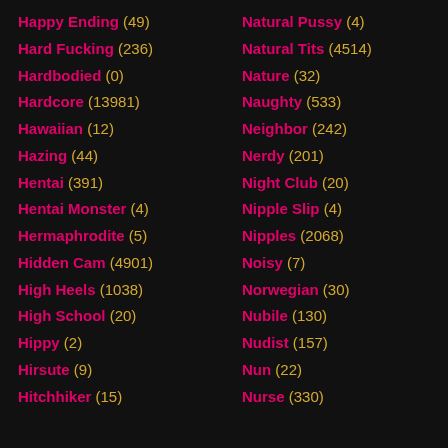Happy Ending (49)
Hard Fucking (236)
Hardbodied (0)
Hardcore (13981)
Hawaiian (12)
Hazing (44)
Hentai (391)
Hentai Monster (4)
Hermaphrodite (5)
Hidden Cam (4901)
High Heels (1038)
High School (20)
Hippy (2)
Hirsute (9)
Hitchhiker (15)
Natural Pussy (4)
Natural Tits (4514)
Nature (32)
Naughty (533)
Neighbor (242)
Nerdy (201)
Night Club (20)
Nipple Slip (4)
Nipples (2068)
Noisy (7)
Norwegian (30)
Nubile (130)
Nudist (157)
Nun (22)
Nurse (330)